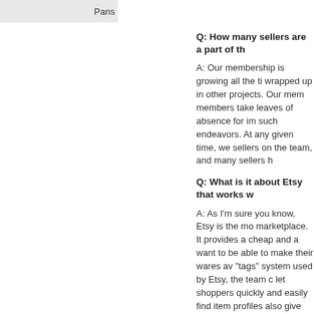Pans
Q: How many sellers are a part of th...
A: Our membership is growing all the ti... wrapped up in other projects. Our mem... members take leaves of absence for im... such endeavors. At any given time, we... sellers on the team, and many sellers h...
Q: What is it about Etsy that works w...
A: As I'm sure you know, Etsy is the mo... marketplace. It provides a cheap and a... want to be able to make their wares av... "tags" system used by Etsy, the team c... let shoppers quickly and easily find item... profiles also give shoppers a chance to... their products and their ethics. In this w... knowing that their products are absolut... vegans when they shop.
Etsy is always evolving. New features... the customer experience, such as coup... special sales. Etsy has also begun to...